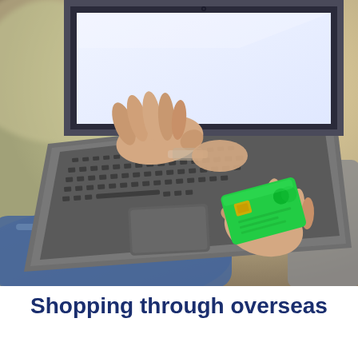[Figure (photo): Person sitting with a laptop computer, typing with one hand while holding a green credit/debit card in the other hand. The laptop screen is bright white. The person is wearing jeans. Background is blurred with warm tones.]
Shopping through overseas